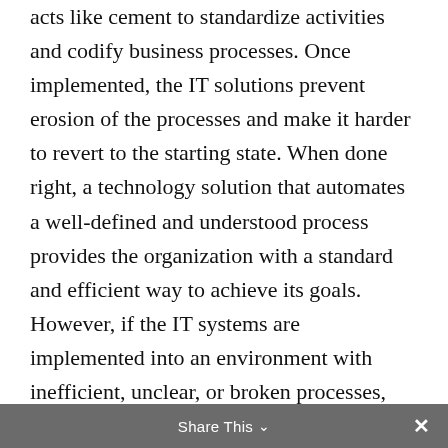acts like cement to standardize activities and codify business processes. Once implemented, the IT solutions prevent erosion of the processes and make it harder to revert to the starting state. When done right, a technology solution that automates a well-defined and understood process provides the organization with a standard and efficient way to achieve its goals. However, if the IT systems are implemented into an environment with inefficient, unclear, or broken processes, these also will be cemented into the fabric of the organization, haunting it for years to come.
Share This ▾ ✕